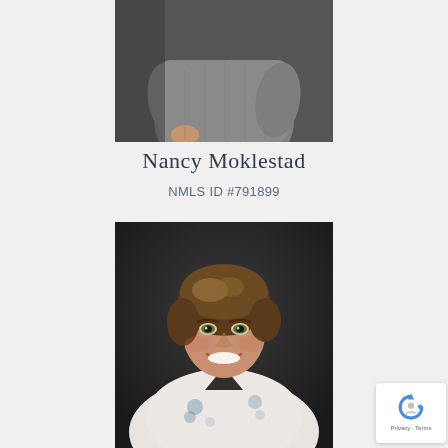[Figure (photo): Partial photo of Nancy Moklestad from torso down, wearing a gray knit top, hands behind back, against a dark gray background]
Nancy Moklestad
NMLS ID #791899
[Figure (photo): Professional headshot of a woman with short brown highlighted hair, smiling, wearing a white floral blouse, against a dark gray background]
Privacy · Terms